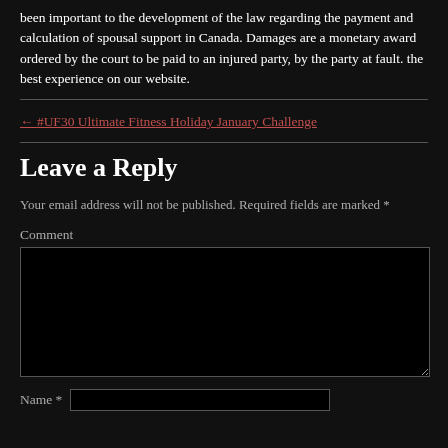been important to the development of the law regarding the payment and calculation of spousal support in Canada. Damages are a monetary award ordered by the court to be paid to an injured party, by the party at fault. the best experience on our website.
← #UF30 Ultimate Fitness Holiday January Challenge
Leave a Reply
Your email address will not be published. Required fields are marked *
Comment
Name *